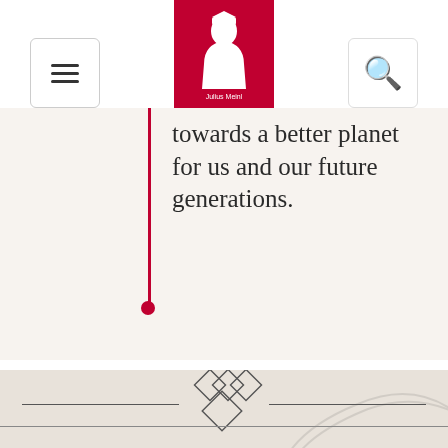Julius Meinl (logo navigation bar)
towards a better planet for us and our future generations.
[Figure (illustration): Julius Meinl ornamental diamond geometric divider]
Street Art Contest
For Businesses